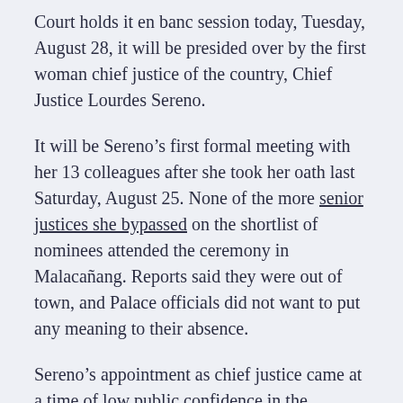Court holds it en banc session today, Tuesday, August 28, it will be presided over by the first woman chief justice of the country, Chief Justice Lourdes Sereno.
It will be Sereno's first formal meeting with her 13 colleagues after she took her oath last Saturday, August 25. None of the more senior justices she bypassed on the shortlist of nominees attended the ceremony in Malacañang. Reports said they were out of town, and Palace officials did not want to put any meaning to their absence.
Sereno's appointment as chief justice came at a time of low public confidence in the Supreme Court. Her predecessor, Renato Corona, was removed from the post for failing to truthfully